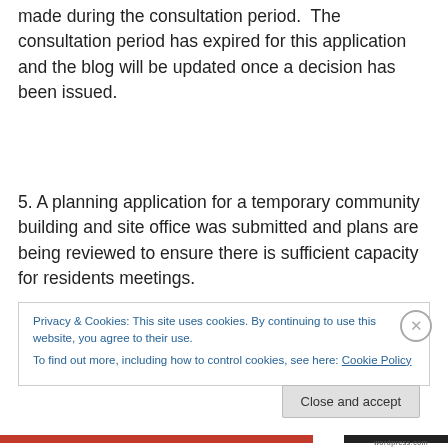made during the consultation period.  The consultation period has expired for this application and the blog will be updated once a decision has been issued.
5. A planning application for a temporary community building and site office was submitted and plans are being reviewed to ensure there is sufficient capacity for residents meetings.
Privacy & Cookies: This site uses cookies. By continuing to use this website, you agree to their use.
To find out more, including how to control cookies, see here: Cookie Policy
Close and accept